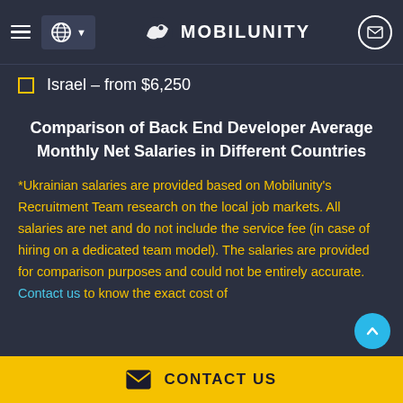MOBILUNITY
Israel – from $6,250
Comparison of Back End Developer Average Monthly Net Salaries in Different Countries
*Ukrainian salaries are provided based on Mobilunity's Recruitment Team research on the local job markets. All salaries are net and do not include the service fee (in case of hiring on a dedicated team model). The salaries are provided for comparison purposes and could not be entirely accurate. Contact us to know the exact cost of
CONTACT US